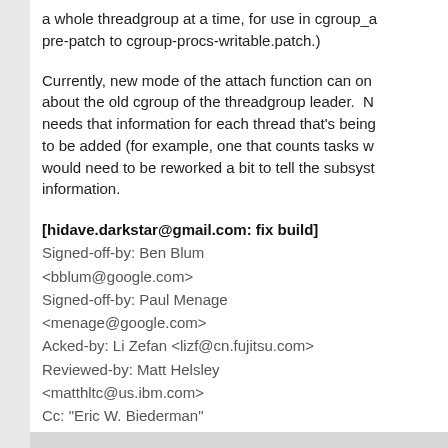a whole threadgroup at a time, for use in cgroup_a pre-patch to cgroup-procs-writable.patch.)
Currently, new mode of the attach function can on about the old cgroup of the threadgroup leader.  N needs that information for each thread that's being to be added (for example, one that counts tasks w would need to be reworked a bit to tell the subsyst information.
[hidave.darkstar@gmail.com: fix build]
Signed-off-by: Ben Blum <bblum@google.com>
Signed-off-by: Paul Menage <menage@google.com>
Acked-by: Li Zefan <lizf@cn.fujitsu.com>
Reviewed-by: Matt Helsley <matthltc@us.ibm.com>
Cc: "Eric W. Biederman" <ebiederm@xmission.com>
Cc: Oleg Nesterov <oleg@redhat.com>
Cc: Peter Zijlstra <a.p.zijlstra@chello.nl>
Cc: Ingo Molnar <mingo@elte.hu>
Cc: Dave Young <hidave.darkstar@gmail.com>
Signed-off-by: Andrew Morton <akpm@linux-foundation.org>
Signed-off-by: Linus Torvalds <torvalds@linux-foundation.org>